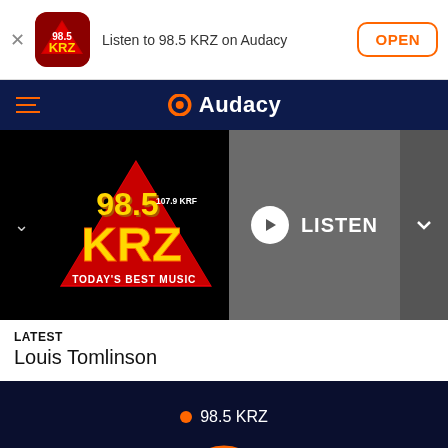[Figure (screenshot): App install banner showing 98.5 KRZ logo icon in red rounded square, text 'Listen to 98.5 KRZ on Audacy', and OPEN button in orange outline]
[Figure (logo): Audacy navigation bar with hamburger menu and Audacy logo]
[Figure (logo): 98.5 KRZ station hero banner with station logo on black background, LISTEN button and chevron]
LATEST
Louis Tomlinson
98.5 KRZ
[Figure (illustration): Orange outlined play button circle on dark navy background]